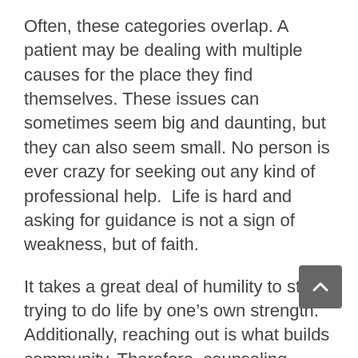Often, these categories overlap. A patient may be dealing with multiple causes for the place they find themselves. These issues can sometimes seem big and daunting, but they can also seem small. No person is ever crazy for seeking out any kind of professional help.  Life is hard and asking for guidance is not a sign of weakness, but of faith.
It takes a great deal of humility to stop trying to do life by one's own strength. Additionally, reaching out is what builds community. Therefore, counseling relationships can be a true paragon of what the Kingdom of God is intended to look like.
Related: Get a Counseling / Psychology